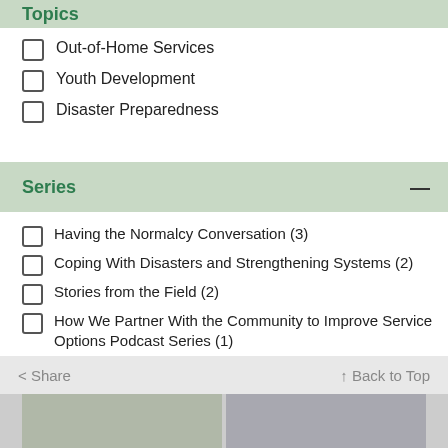Topics
Out-of-Home Services
Youth Development
Disaster Preparedness
Series
Having the Normalcy Conversation (3)
Coping With Disasters and Strengthening Systems (2)
Stories from the Field (2)
How We Partner With the Community to Improve Service Options Podcast Series (1)
< Share   ↑ Back to Top